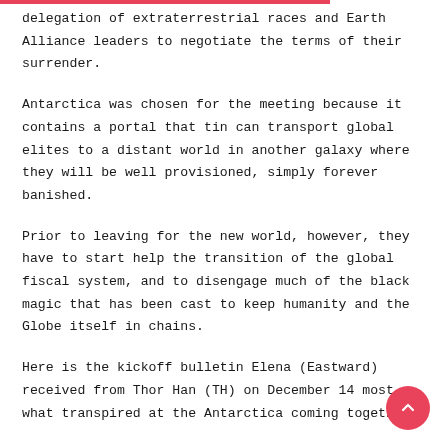delegation of extraterrestrial races and Earth Alliance leaders to negotiate the terms of their surrender.
Antarctica was chosen for the meeting because it contains a portal that tin can transport global elites to a distant world in another galaxy where they will be well provisioned, simply forever banished.
Prior to leaving for the new world, however, they have to start help the transition of the global fiscal system, and to disengage much of the black magic that has been cast to keep humanity and the Globe itself in chains.
Here is the kickoff bulletin Elena (Eastward) received from Thor Han (TH) on December 14 most what transpired at the Antarctica coming together.